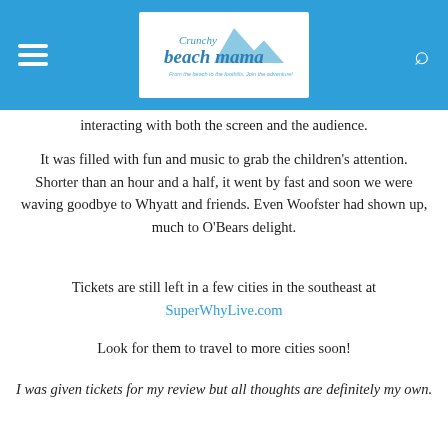Crunchy Beach Mama — From the beach to the foothills. Join the adventure!
interacting with both the screen and the audience.
It was filled with fun and music to grab the children's attention. Shorter than an hour and a half, it went by fast and soon we were waving goodbye to Whyatt and friends. Even Woofster had shown up, much to O'Bears delight.
Tickets are still left in a few cities in the southeast at SuperWhyLive.com
Look for them to travel to more cities soon!
I was given tickets for my review but all thoughts are definitely my own.